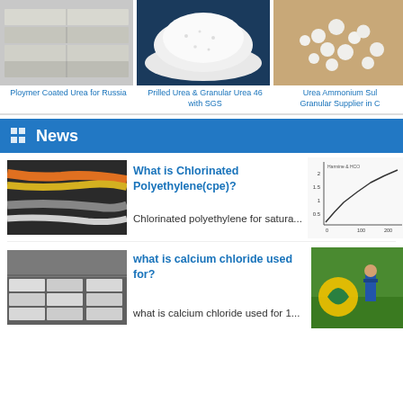[Figure (photo): Photo of polymer coated urea bags stacked]
Ploymer Coated Urea for Russia
[Figure (photo): Photo of prilled or granular urea white granules]
Prilled Urea & Granular Urea 46 with SGS
[Figure (photo): Photo of urea ammonium sulphate white pellets]
Urea Ammonium Sulphate Granular Supplier in C
News
[Figure (photo): Photo of colored plastic/rubber cables or tubes]
What is Chlorinated Polyethylene(cpe)?
Chlorinated polyethylene for satura...
[Figure (continuous-plot): Small line graph chart]
[Figure (photo): Photo of white bags stacked in warehouse]
what is calcium chloride used for?
what is calcium chloride used for 1...
[Figure (photo): Photo of farmer spraying in green field with logo]